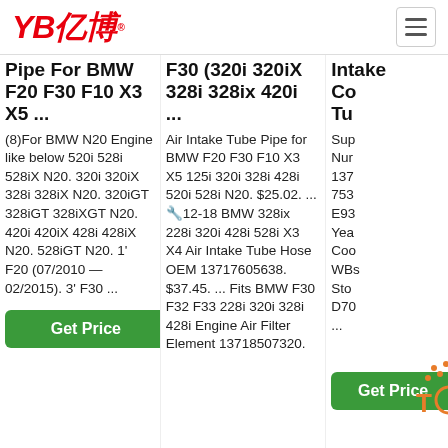YB亿博
Pipe For BMW F20 F30 F10 X3 X5 ...
(8)For BMW N20 Engine like below 520i 528i 528iX N20. 320i 320iX 328i 328iX N20. 320iGT 328iGT 328iXGT N20. 420i 420iX 428i 428iX N20. 528iGT N20. 1' F20 (07/2010 — 02/2015). 3' F30 ...
F30 (320i 320iX 328i 328ix 420i ...
Air Intake Tube Pipe for BMW F20 F30 F10 X3 X5 125i 320i 328i 428i 520i 528i N20. $25.02. ... 🔧12-18 BMW 328ix 228i 320i 428i 528i X3 X4 Air Intake Tube Hose OEM 13717605638. $37.45. ... Fits BMW F30 F32 F33 228i 320i 328i 428i Engine Air Filter Element 13718507320.
Intake Co Tu
Sup Nur 137 753 E93 Yea Coo WBs Sto D70 ...